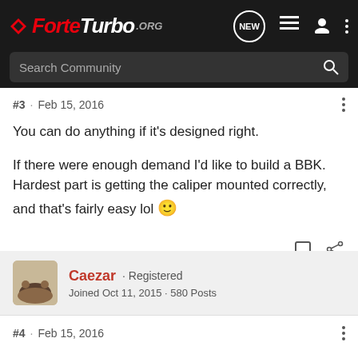ForteTurbo.org - Search Community
#3 · Feb 15, 2016
You can do anything if it's designed right.

If there were enough demand I'd like to build a BBK. Hardest part is getting the caliper mounted correctly, and that's fairly easy lol 🙂
Caezar · Registered
Joined Oct 11, 2015 · 580 Posts
#4 · Feb 15, 2016